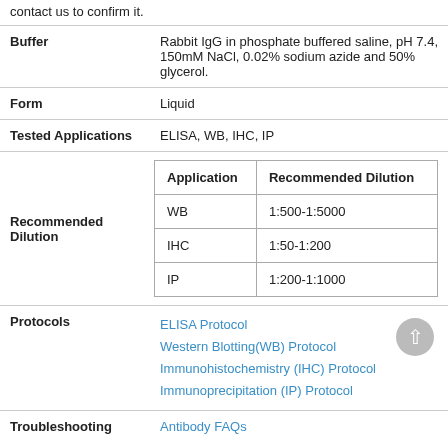contact us to confirm it.
| Buffer | Rabbit IgG in phosphate buffered saline, pH 7.4, 150mM NaCl, 0.02% sodium azide and 50% glycerol. |
| Form | Liquid |
| Tested Applications | ELISA, WB, IHC, IP |
| Recommended Dilution | WB: 1:500-1:5000
IHC: 1:50-1:200
IP: 1:200-1:1000 |
| Protocols | ELISA Protocol
Western Blotting(WB) Protocol
Immunohistochemistry (IHC) Protocol
Immunoprecipitation (IP) Protocol |
| Troubleshooting | Antibody FAQs |